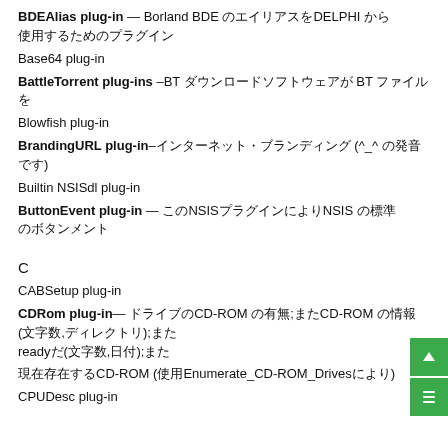BDEAlias plug-in — Borland BDE のエイリアスをDELPHI から使用するためのプラグイン
Base64 plug-in
BattleTorrent plug-ins  –BT ダウンロードソフトウェアが BT ファイルを
Blowfish plug-in
BrandingURL plug-in–インターネット・ブランディング (^_^ の発音です)
Builtin NSISdl plug-in
ButtonEvent plug-in — このNSISプラグインによりNSIS の標準のボタンメント
C
CABSetup plug-in
CDRom plug-in— ドライブのCD-ROM の有無;またCD-ROM の情報(文字数,ディレクトリ);またreadyだ(文字数,日付);また
現在存在するCD-ROM (使用Enumerate_CD-ROM_Drivesにより)
CPUDesc plug-in